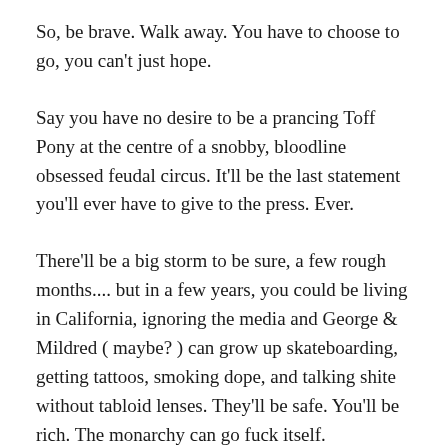So, be brave. Walk away. You have to choose to go, you can't just hope.
Say you have no desire to be a prancing Toff Pony at the centre of a snobby, bloodline obsessed feudal circus. It'll be the last statement you'll ever have to give to the press. Ever.
There'll be a big storm to be sure, a few rough months.... but in a few years, you could be living in California, ignoring the media and George & Mildred ( maybe? ) can grow up skateboarding, getting tattoos, smoking dope, and talking shite without tabloid lenses. They'll be safe. You'll be rich. The monarchy can go fuck itself.
I am a republican and would enjoy the whole thing being in chaos. But that's not why you should do it. You should